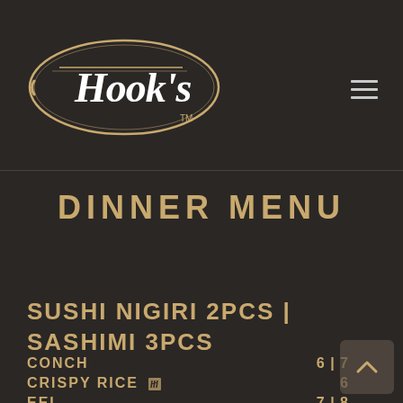[Figure (logo): Hook's restaurant logo — script text 'Hook's' inside an oval border with TM mark, gold/tan on dark background]
DINNER MENU
SUSHI NIGIRI 2PCS | SASHIMI 3PCS
CONCH   6 | 7
CRISPY RICE   6
EEL   7 | 8